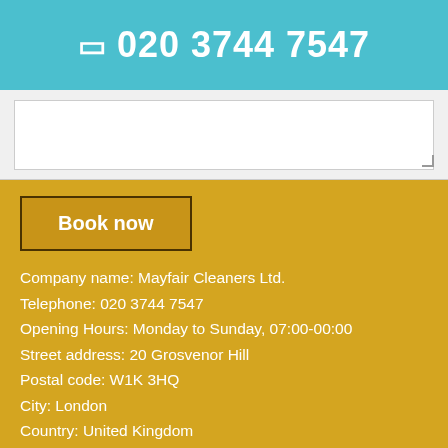📱 020 3744 7547
Book now
Company name: Mayfair Cleaners Ltd.
Telephone: 020 3744 7547
Opening Hours: Monday to Sunday, 07:00-00:00
Street address: 20 Grosvenor Hill
Postal code: W1K 3HQ
City: London
Country: United Kingdom
Latitude: 51.5110230 Longitude: -0.1468770
E-mail: office@mayfaircleaners.org